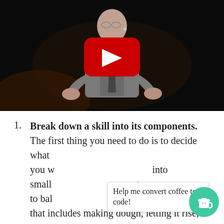[Figure (screenshot): YouTube video thumbnail showing a bald man with glasses wearing a gray vest and white shirt with a microphone, speaking on a dark stage. A red YouTube play button overlay is centered on the image.]
Break down a skill into its components. The first thing you need to do is to decide what you w... into small... t wan... to bal... pro... that includes making dough, letting it rise,
Help me convert coffee to code!